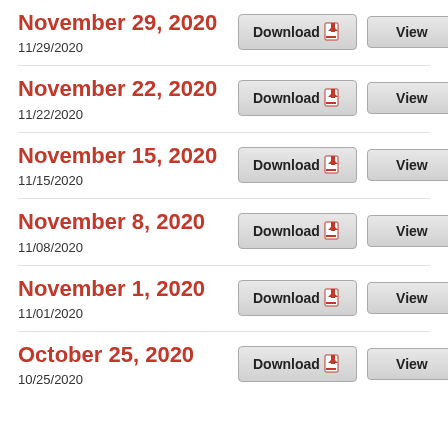November 29, 2020
11/29/2020
November 22, 2020
11/22/2020
November 15, 2020
11/15/2020
November 8, 2020
11/08/2020
November 1, 2020
11/01/2020
October 25, 2020
10/25/2020